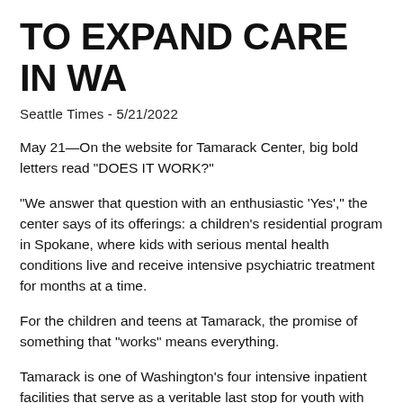TO EXPAND CARE IN WA
Seattle Times - 5/21/2022
May 21—On the website for Tamarack Center, big bold letters read "DOES IT WORK?"
"We answer that question with an enthusiastic 'Yes'," the center says of its offerings: a children's residential program in Spokane, where kids with serious mental health conditions live and receive intensive psychiatric treatment for months at a time.
For the children and teens at Tamarack, the promise of something that "works" means everything.
Tamarack is one of Washington's four intensive inpatient facilities that serve as a veritable last stop for youth with mental health diagnoses so significant that they're unsafe living at home. Some of the youth have cycled in and out of emergency departments